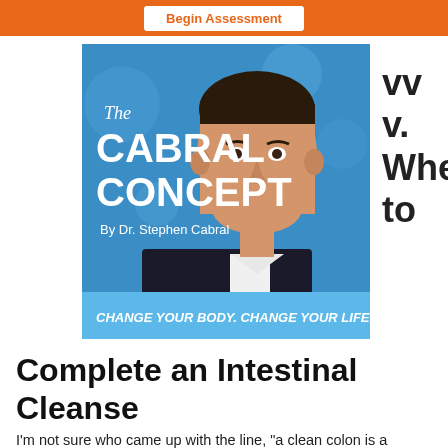Begin Assessment
[Figure (photo): The Cabral Concept podcast cover art featuring Dr. Stephen Cabral in a suit, blue background with hexagonal design, tagline: CHANGE YOUR BODY. CHANGE YOUR LIFE.]
When to
Complete an Intestinal Cleanse
I'm not sure who came up with the line, "a clean colon is a